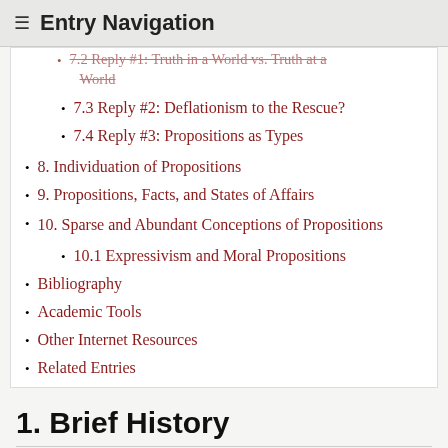≡ Entry Navigation
7.2 Reply #1: Truth in a World vs. Truth at a World
7.3 Reply #2: Deflationism to the Rescue?
7.4 Reply #3: Propositions as Types
8. Individuation of Propositions
9. Propositions, Facts, and States of Affairs
10. Sparse and Abundant Conceptions of Propositions
10.1 Expressivism and Moral Propositions
Bibliography
Academic Tools
Other Internet Resources
Related Entries
1. Brief History